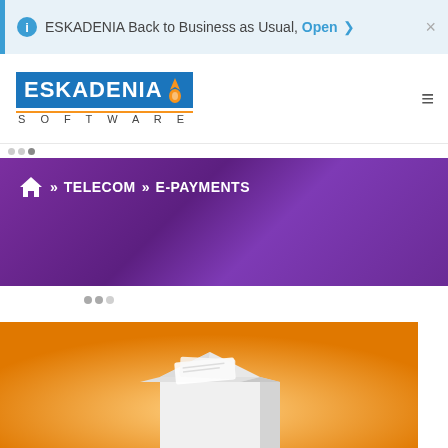ESKADENIA Back to Business as Usual, Open
[Figure (logo): ESKADENIA Software logo with blue background and flame icon, tagline SOFTWARE below]
» TELECOM » E-PAYMENTS
[Figure (illustration): Orange banner with white 3D envelope/box illustration]